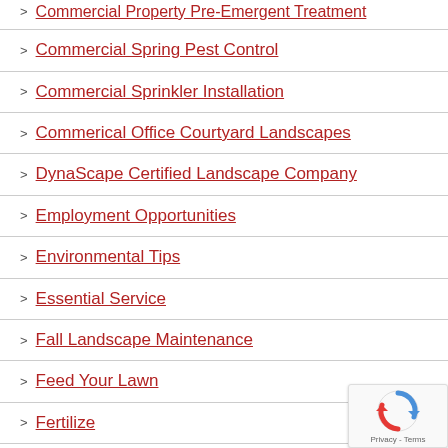Commercial Property Pre-Emergent Treatment
Commercial Spring Pest Control
Commercial Sprinkler Installation
Commerical Office Courtyard Landscapes
DynaScape Certified Landscape Company
Employment Opportunities
Environmental Tips
Essential Service
Fall Landscape Maintenance
Feed Your Lawn
Fertilize